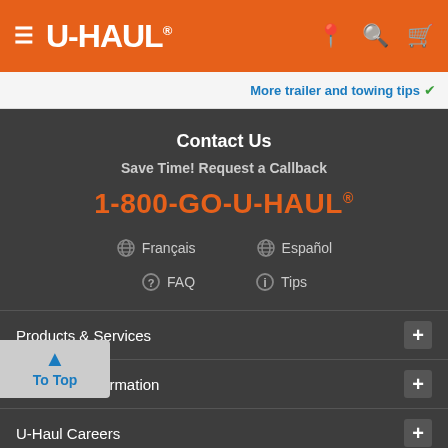U-HAUL navigation header with hamburger menu, logo, location, search, and cart icons
More trailer and towing tips ✓
Contact Us
Save Time! Request a Callback
1-800-GO-U-HAUL®
Français
Español
FAQ
Tips
Products & Services +
Company Information +
U-Haul Careers +
Partner With Us +
Your Order +
Back To Top